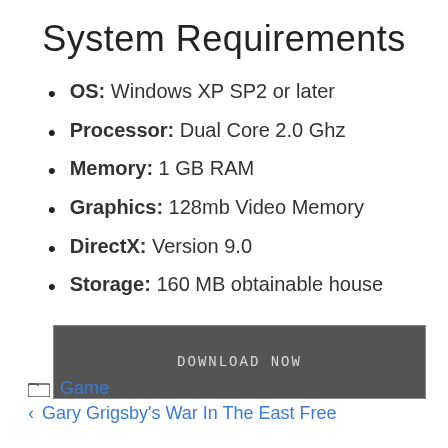System Requirements
OS: Windows XP SP2 or later
Processor: Dual Core 2.0 Ghz
Memory: 1 GB RAM
Graphics: 128mb Video Memory
DirectX: Version 9.0
Storage: 160 MB obtainable house
DOWNLOAD NOW
Game
Gary Grigsby's War In The East Free